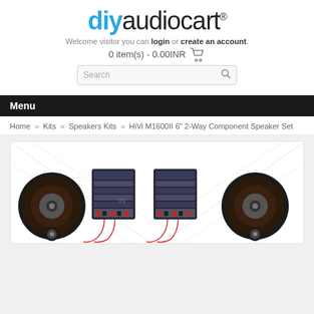[Figure (logo): diyaudiocart logo with 'diy' in blue and 'audiocart' in dark/black, registered trademark symbol]
Welcome visitor you can login or create an account.
0 item(s) - 0.00INR
Search
Menu
Home » Kits » Speakers Kits » HiVi M1600II 6" 2-Way Component Speaker Set
[Figure (photo): Product photo of HiVi M1600II 6" 2-Way Component Speaker Set showing two woofers, two crossover modules, and two tweeters arranged in a row]